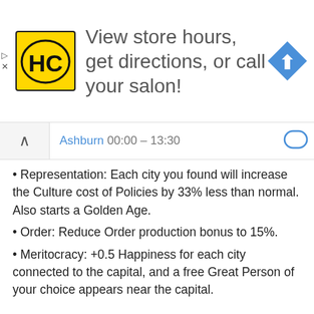[Figure (infographic): Advertisement banner for HC (Hair Club) salon with yellow/black logo, text 'View store hours, get directions, or call your salon!', and a blue diamond navigation icon on the right.]
Ashburn 00:00 – 13:30
Representation: Each city you found will increase the Culture cost of Policies by 33% less than normal. Also starts a Golden Age.
Order: Reduce Order production bonus to 15%.
Meritocracy: +0.5 Happiness for each city connected to the capital, and a free Great Person of your choice appears near the capital.
Resources
Fish reduced to 1 food (but can be boosted back